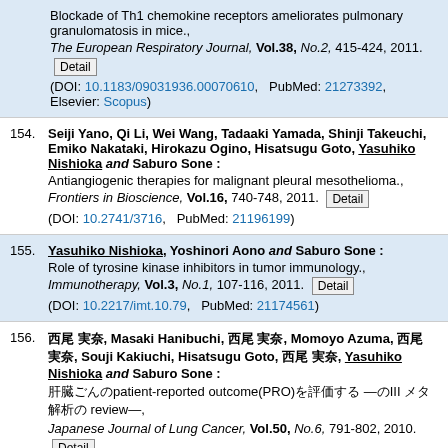153 (continued). [authors truncated] Blockade of Th1 chemokine receptors ameliorates pulmonary granulomatosis in mice. The European Respiratory Journal, Vol.38, No.2, 415-424, 2011. DOI: 10.1183/09031936.00070610, PubMed: 21273392, Elsevier: Scopus
154. Seiji Yano, Qi Li, Wei Wang, Tadaaki Yamada, Shinji Takeuchi, Emiko Nakataki, Hirokazu Ogino, Hisatsugu Goto, Yasuhiko Nishioka and Saburo Sone : Antiangiogenic therapies for malignant pleural mesothelioma. Frontiers in Bioscience, Vol.16, 740-748, 2011. DOI: 10.2741/3716, PubMed: 21196199
155. Yasuhiko Nishioka, Yoshinori Aono and Saburo Sone : Role of tyrosine kinase inhibitors in tumor immunology. Immunotherapy, Vol.3, No.1, 107-116, 2011. DOI: 10.2217/imt.10.79, PubMed: 21174561
156. [Japanese authors], Masaki Hanibuchi, [Japanese], Momoyo Azuma, [Japanese], Souji Kakiuchi, Hisatsugu Goto, [Japanese], Yasuhiko Nishioka and Saburo Sone : [Japanese text with patient-reported outcome(PRO)] review. Japanese Journal of Lung Cancer, Vol.50, No.6, 791-802, 2010. DOI: 10.2482/haigan.50.791, CiNii: 1200001204601010368